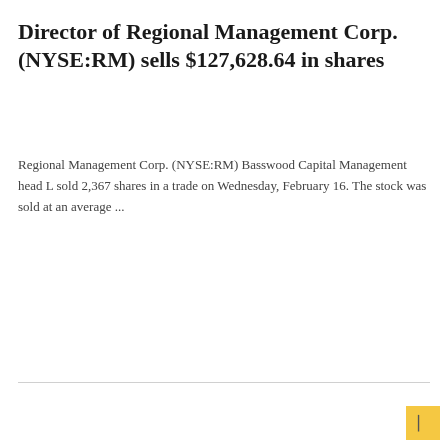Director of Regional Management Corp. (NYSE:RM) sells $127,628.64 in shares
Regional Management Corp. (NYSE:RM) Basswood Capital Management head L sold 2,367 shares in a trade on Wednesday, February 16. The stock was sold at an average ...
READ MORE
ONLINE GAMES